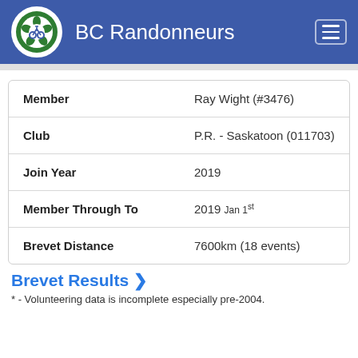BC Randonneurs
| Field | Value |
| --- | --- |
| Member | Ray Wight (#3476) |
| Club | P.R. - Saskatoon (011703) |
| Join Year | 2019 |
| Member Through To | 2019 Jan 1st |
| Brevet Distance | 7600km (18 events) |
Brevet Results ❯
* - Volunteering data is incomplete especially pre-2004.